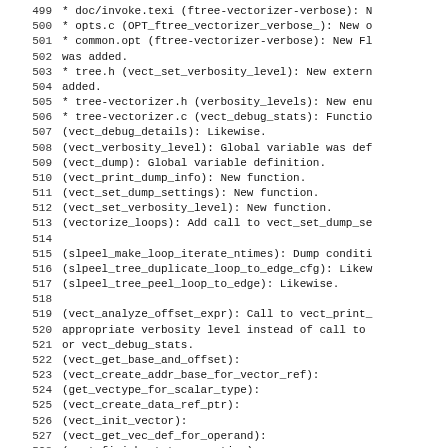499  * doc/invoke.texi (ftree-vectorizer-verbose): N
500  * opts.c (OPT_ftree_vectorizer_verbose_): New o
501  * common.opt (ftree-vectorizer-verbose): New Fl
502  was added.
503  * tree.h (vect_set_verbosity_level): New extern
504  added.
505  * tree-vectorizer.h (verbosity_levels): New enu
506  * tree-vectorizer.c (vect_debug_stats): Functio
507  (vect_debug_details): Likewise.
508  (vect_verbosity_level): Global variable was def
509  (vect_dump): Global variable definition.
510  (vect_print_dump_info): New function.
511  (vect_set_dump_settings): New function.
512  (vect_set_verbosity_level): New function.
513  (vectorize_loops): Add call to vect_set_dump_se
514  
515  (slpeel_make_loop_iterate_ntimes): Dump conditi
516  (slpeel_tree_duplicate_loop_to_edge_cfg): Likew
517  (slpeel_tree_peel_loop_to_edge): Likewise.
518  
519  (vect_analyze_offset_expr): Call to vect_print_
520  appropriate verbosity level instead of call to
521  or vect_debug_stats.
522  (vect_get_base_and_offset):
523  (vect_create_addr_base_for_vector_ref):
524  (get_vectype_for_scalar_type):
525  (vect_create_data_ref_ptr):
526  (vect_init_vector):
527  (vect_get_vec_def_for_operand):
528  (vect_finish_stmt_generation):
529  (vectorizable_assignment):
530  (vectorizable_operation):